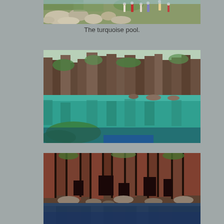[Figure (photo): Top portion of a photo showing rocky terrain with hikers/tourists walking along a rocky path near a turquoise pool, with green vegetation visible.]
The turquoise pool.
[Figure (photo): A large natural pool with strikingly clear turquoise-blue water reflecting tall basalt or volcanic rock columns covered with green moss and vegetation. The water is very clear and shows the rocky bottom.]
[Figure (photo): Close-up view of dark basalt/volcanic rock columns at the water's edge, with calm blue water reflecting the rocks. Rocky debris at the base of the columns.]